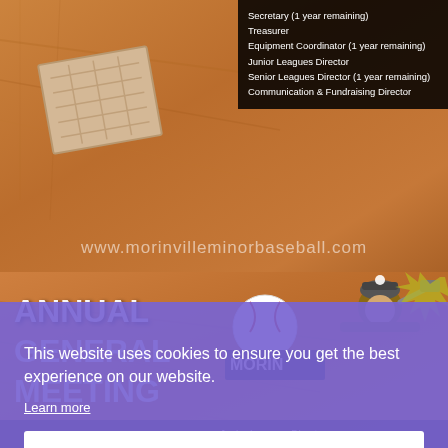[Figure (screenshot): Baseball field background image with base plate. Black info box showing list of director positions.]
Secretary (1 year remaining)
Treasurer
Equipment Coordinator (1 year remaining)
Junior Leagues Director
Senior Leagues Director (1 year remaining)
Communication & Fundraising Director
www.morinvilleminorbaseball.com
[Figure (photo): Annual General Meeting banner image with orange/sandy baseball field background. Left side shows large white bold text 'ANNUAL GENERAL MEETING'. Center/right shows a baseball with Morinville minor baseball mascot (miner character).]
This website uses cookies to ensure you get the best experience on our website.
Learn more
Got it
Junior Leagues Director